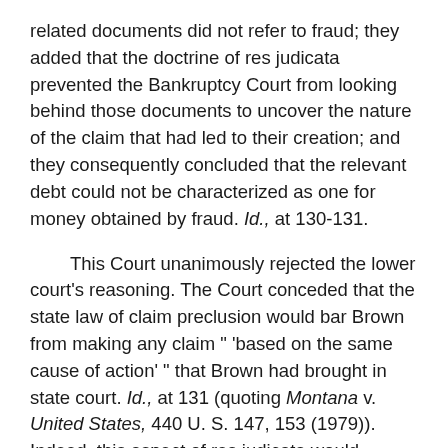related documents did not refer to fraud; they added that the doctrine of res judicata prevented the Bankruptcy Court from looking behind those documents to uncover the nature of the claim that had led to their creation; and they consequently concluded that the relevant debt could not be characterized as one for money obtained by fraud. Id., at 130-131.
This Court unanimously rejected the lower court's reasoning. The Court conceded that the state law of claim preclusion would bar Brown from making any claim " 'based on the same cause of action' " that Brown had brought in state court. Id., at 131 (quoting Montana v. United States, 440 U. S. 147, 153 (1979)). Indeed, this aspect of res judicata would prevent Brown from litigating "all grounds for ... recovery" previously available to Brown, whether or not Brown had previously "asserted" those grounds in the prior state court "proceeding." 442 U. S., at 131. But all this, the Court held, was beside the point. Claim preclusion did not